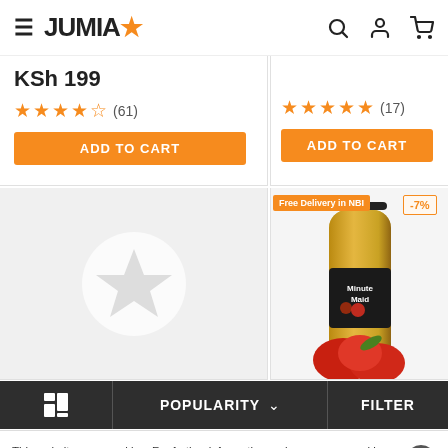JUMIA
KSh 199
★★★★☆ (61)
ADD TO CART
★★★★★ (17)
ADD TO CART
[Figure (other): Empty placeholder with white star circle icon on grey background]
[Figure (photo): Minute Maid apple juice bottle with red apples, badge: Free Delivery in NBI, discount badge: -7%]
POPULARITY ∨
FILTER
This website uses cookies. For further information on how we use cookies you can read our Privacy and Cookie notice